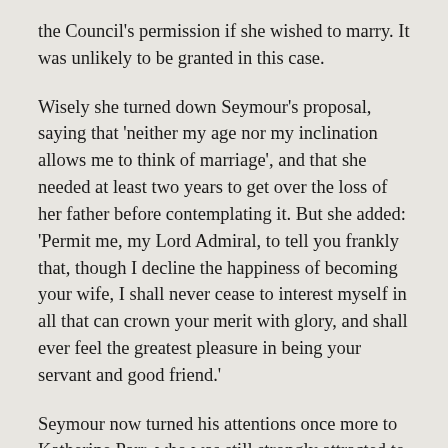the Council's permission if she wished to marry. It was unlikely to be granted in this case.
Wisely she turned down Seymour's proposal, saying that 'neither my age nor my inclination allows me to think of marriage', and that she needed at least two years to get over the loss of her father before contemplating it. But she added: 'Permit me, my Lord Admiral, to tell you frankly that, though I decline the happiness of becoming your wife, I shall never cease to interest myself in all that can crown your merit with glory, and shall ever feel the greatest pleasure in being your servant and good friend.'
Seymour now turned his attentions once more to Katherine Parr, who was still strongly attracted to him. Their courtship had, of necessity, to be conducted in secret in case the Council found out and forbade its continuance. Katherine was officially mourning Henry VIII, and could